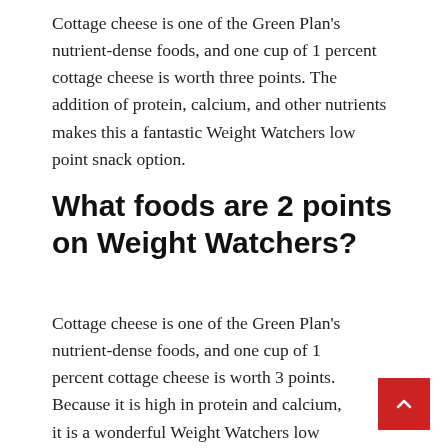Cottage cheese is one of the Green Plan's nutrient-dense foods, and one cup of 1 percent cottage cheese is worth three points. The addition of protein, calcium, and other nutrients makes this a fantastic Weight Watchers low point snack option.
What foods are 2 points on Weight Watchers?
Cottage cheese is one of the Green Plan's nutrient-dense foods, and one cup of 1 percent cottage cheese is worth 3 points. Because it is high in protein and calcium, it is a wonderful Weight Watchers low point snack option.